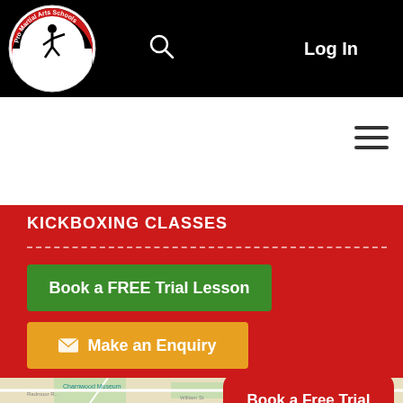[Figure (logo): Pro Martial Arts Schools / Kickboxing Clubs circular logo with a karate figure silhouette in black and red]
Log In
KICKBOXING CLASSES
Book a FREE Trial Lesson
Make an Enquiry
[Figure (map): Google Maps partial view showing Charnwood Museum area with street names including Radmoor Road and William St]
Book a Free Trial